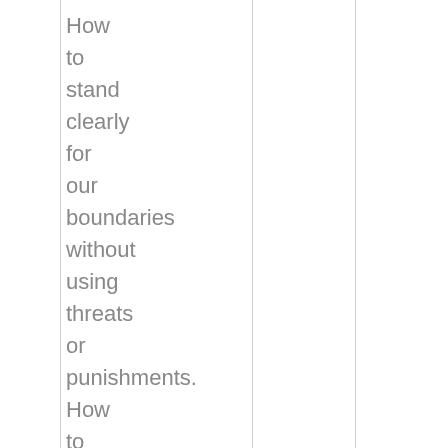How to stand clearly for our boundaries without using threats or punishments. How to move from